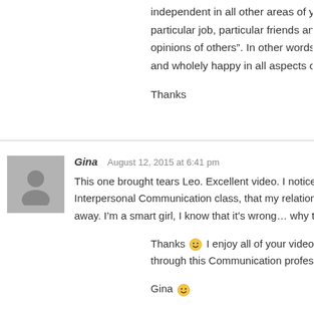independent in all other areas of your neediness for e... particular job, particular friends and being "independen... opinions of others". In other words do you have to bec... and wholely happy in all aspects of your life to have a s...
Thanks
Gina   August 12, 2015 at 6:41 pm
This one brought tears Leo. Excellent video. I noticed a... Interpersonal Communication class, that my relationsh... away. I'm a smart girl, I know that it's wrong… why the...
Thanks 🙂 I enjoy all of your videos. (Which by the wa... through this Communication professor.)
Gina 🙂